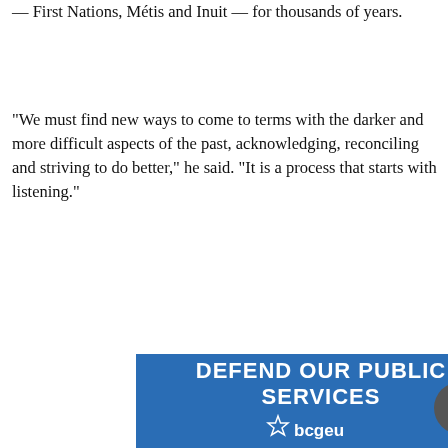— First Nations, Métis and Inuit — for thousands of years.
“We must find new ways to come to terms with the darker and more difficult aspects of the past, acknowledging, reconciling and striving to do better,” he said. “It is a process that starts with listening.”
[Figure (other): Blue banner advertisement reading 'DEFEND OUR PUBLIC SERVICES' with bcgeu star logo, and a circular scroll-to-top button overlapping the right side]